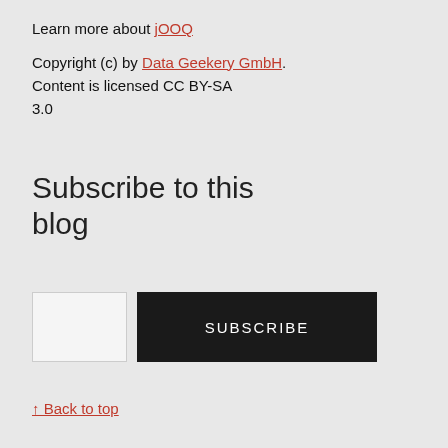Learn more about jOOQ
Copyright (c) by Data Geekery GmbH. Content is licensed CC BY-SA 3.0
Subscribe to this blog
[Figure (other): Email input field and SUBSCRIBE button for blog subscription]
↑ Back to top